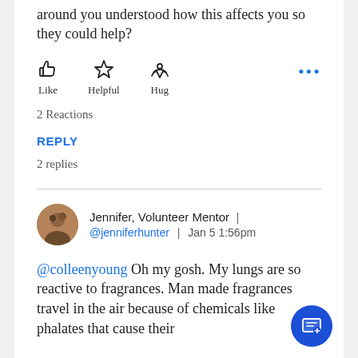around you understood how this affects you so they could help?
[Figure (infographic): Three reaction buttons: thumbs up (Like), star (Helpful), heart in hand (Hug), with a blue ellipsis menu on the right]
2 Reactions
REPLY
2 replies
Jennifer, Volunteer Mentor  |  @jenniferhunter  |  Jan 5 1:56pm
@colleenyoung Oh my gosh. My lungs are so reactive to fragrances. Man made fragrances travel in the air because of chemicals like phalates that cause their